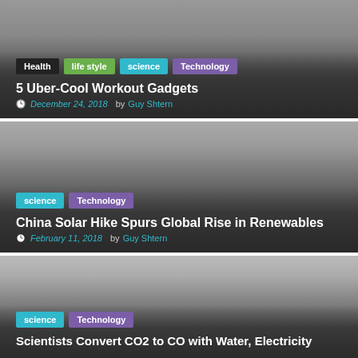Tags: Health, life style, science, Technology
5 Uber-Cool Workout Gadgets
December 24, 2018  by Guy Shtern
Tags: science, Technology
China Solar Hike Spurs Global Rise in Renewables
February 11, 2018  by Guy Shtern
Tags: science, Technology
Scientists Convert CO2 to CO with Water, Electricity